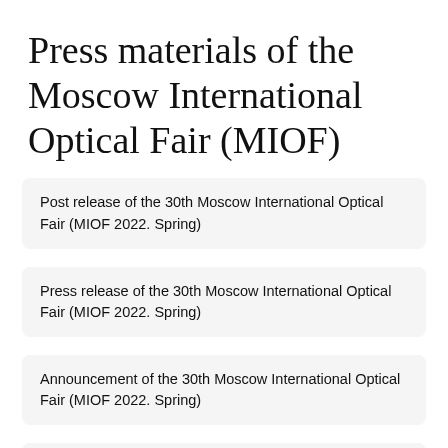Press materials of the Moscow International Optical Fair (MIOF)
Post release of the 30th Moscow International Optical Fair (MIOF 2022. Spring)
Press release of the 30th Moscow International Optical Fair (MIOF 2022. Spring)
Announcement of the 30th Moscow International Optical Fair (MIOF 2022. Spring)